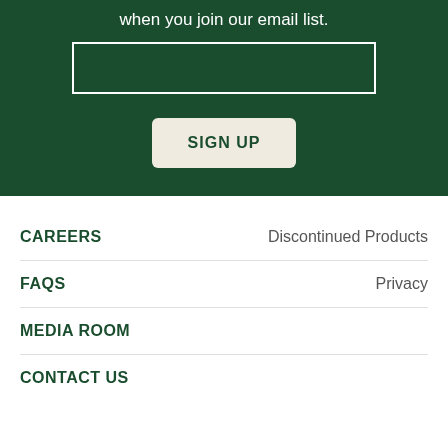when you join our email list.
[Figure (other): Email input field with white border on dark green background]
SIGN UP
CAREERS | Discontinued Products
FAQS | Privacy
MEDIA ROOM
CONTACT US